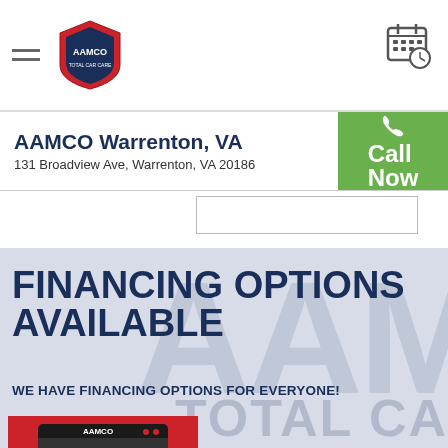AAMCO Total Car Care — Navigation header with hamburger menu, AAMCO logo, and calendar/schedule icon
AAMCO Warrenton, VA
131 Broadview Ave, Warrenton, VA 20186
Call Now
FINANCING OPTIONS AVAILABLE
WE HAVE FINANCING OPTIONS FOR EVERYONE!
[Figure (infographic): Red promotional box showing AAMCO credit card image, text: 6 OR 12 MONTHS PROMOTIONAL FINANCING* on purchases of $199-$749.99 (6 months) Or $750 or more (12 months) With the AAMCO Credit Card. CALL FOR DETAILS]
[Figure (photo): Background photo showing AAMCO TOTAL CAR CARE signage letters, blurred, overlaid with text content]